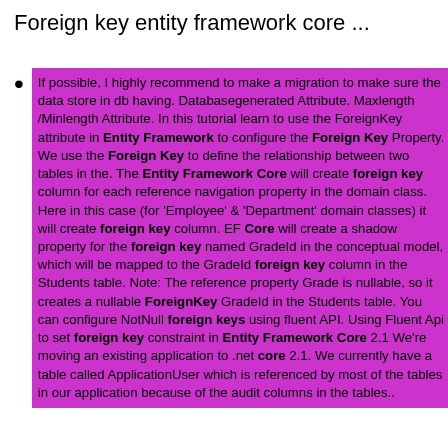Foreign key entity framework core ...
If possible, I highly recommend to make a migration to make sure the data store in db having. Databasegenerated Attribute. Maxlength /Minlength Attribute. In this tutorial learn to use the ForeignKey attribute in Entity Framework to configure the Foreign Key Property. We use the Foreign Key to define the relationship between two tables in the. The Entity Framework Core will create foreign key column for each reference navigation property in the domain class. Here in this case (for ‘Employee’ & ‘Department’ domain classes) it will create foreign key column. EF Core will create a shadow property for the foreign key named GradeId in the conceptual model, which will be mapped to the GradeId foreign key column in the Students table. Note: The reference property Grade is nullable, so it creates a nullable ForeignKey GradeId in the Students table. You can configure NotNull foreign keys using fluent API. Using Fluent Api to set foreign key constraint in Entity Framework Core 2.1 We’re moving an existing application to .net core 2.1. We currently have a table called ApplicationUser which is referenced by most of the tables in our application because of the audit columns in the tables..